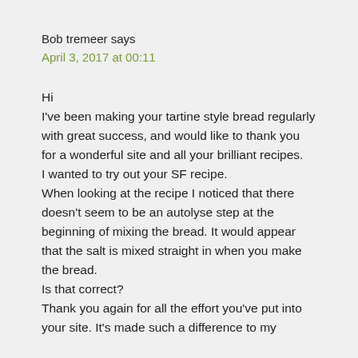Bob tremeer says
April 3, 2017 at 00:11
Hi
I've been making your tartine style bread regularly with great success, and would like to thank you for a wonderful site and all your brilliant recipes.
I wanted to try out your SF recipe.
When looking at the recipe I noticed that there doesn't seem to be an autolyse step at the beginning of mixing the bread. It would appear that the salt is mixed straight in when you make the bread.
Is that correct?
Thank you again for all the effort you've put into your site. It's made such a difference to my